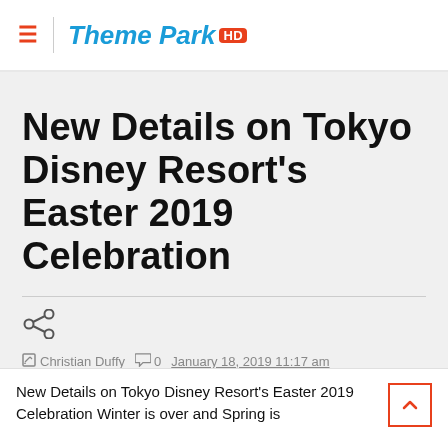Theme Park HD
New Details on Tokyo Disney Resort's Easter 2019 Celebration
Christian Duffy  0  January 18, 2019 11:17 am
New Details on Tokyo Disney Resort's Easter 2019 Celebration Winter is over and Spring is